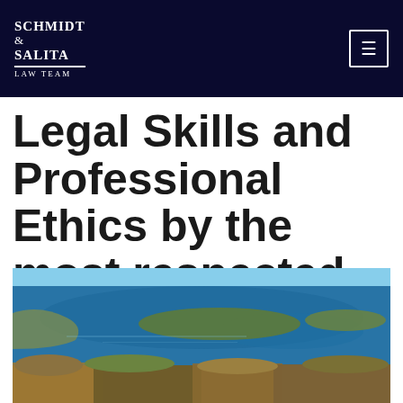Schmidt & Salita Law Team — navigation bar with logo and menu button
Legal Skills and Professional Ethics by the most respected legal rating system.
[Figure (photo): Aerial photograph of a Minnesota lake surrounded by autumn foliage and wooded shorelines, viewed from above.]